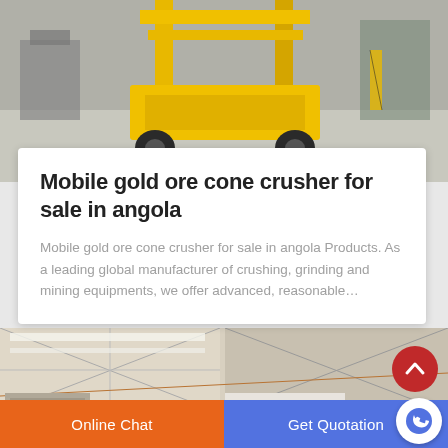[Figure (photo): Industrial machine (yellow crusher/mining equipment) on a factory floor, viewed partially from front-left angle.]
Mobile gold ore cone crusher for sale in angola
Mobile gold ore cone crusher for sale in angola Products. As a leading global manufacturer of crushing, grinding and mining equipments, we offer advanced, reasonable…
[Figure (photo): Industrial building interior/exterior showing steel roof structure with cross-bracing and equipment.]
Online Chat
Get Quotation